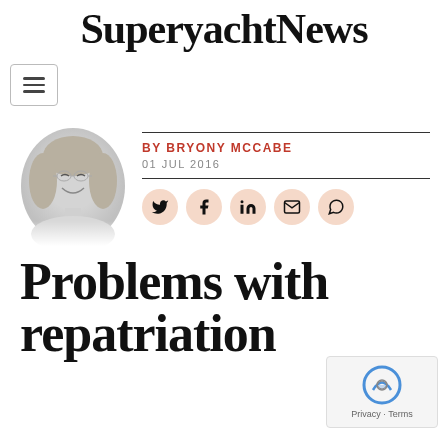SuperyachtNews
[Figure (other): Hamburger menu navigation icon button]
[Figure (photo): Black and white headshot photo of author Bryony McCabe, smiling woman with blonde hair]
BY BRYONY MCCABE
01 JUL 2016
[Figure (other): Social share buttons: Twitter, Facebook, LinkedIn, Email, WhatsApp]
Problems with repatriation